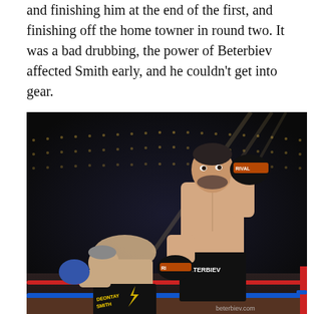and finishing him at the end of the first, and finishing off the home towner in round two. It was a bad drubbing, the power of Beterbiev affected Smith early, and he couldn't get into gear.
[Figure (photo): Boxing match photo showing Beterbiev (right, larger fighter in black trunks labeled BETERBIEV with Rival gloves) delivering a punch to a bent-over opponent (left, in black and gold trunks labeled SMITH). The fight takes place in a brightly lit arena with lights in the background. The website beterbiev.com is visible in the bottom right corner.]